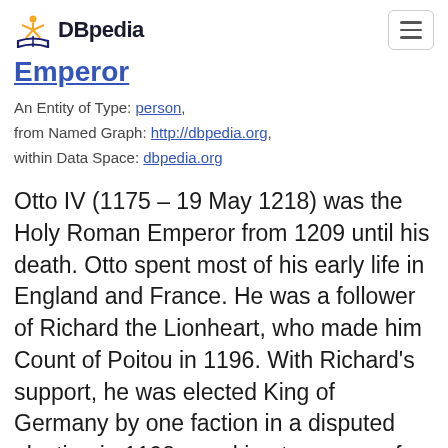DBpedia
Emperor
An Entity of Type: person, from Named Graph: http://dbpedia.org, within Data Space: dbpedia.org
Otto IV (1175 – 19 May 1218) was the Holy Roman Emperor from 1209 until his death. Otto spent most of his early life in England and France. He was a follower of Richard the Lionheart, who made him Count of Poitou in 1196. With Richard's support, he was elected King of Germany by one faction in a disputed election in 1198, sparking ten years of civil war. The death of his rival, Philip of Swabia, in